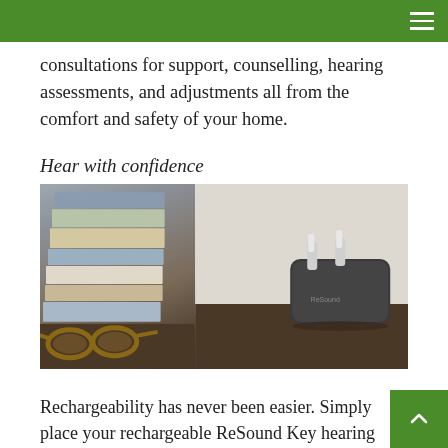consultations for support, counselling, hearing assessments, and adjustments all from the comfort and safety of your home.
Hear with confidence
[Figure (photo): Photo of a stack of books with glasses in front and a ReSound hearing aid charger on a dark wooden surface]
Rechargeability has never been easier. Simply place your rechargeable ReSound Key hearing aids in one of our stylish chargers and get more than a full day of power without the worry of